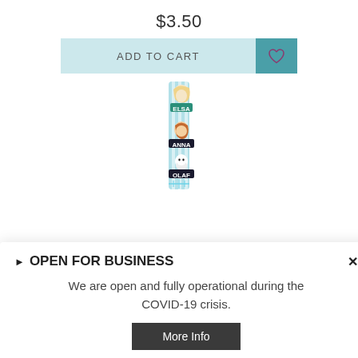$3.50
ADD TO CART
[Figure (photo): Frozen 2 reusable straw product with Elsa, Anna, and Olaf character decorations on light teal striped straw]
▶ OPEN FOR BUSINESS
We are open and fully operational during the COVID-19 crisis.
More Info
Frozen 2 - 1pk Reusable Straw